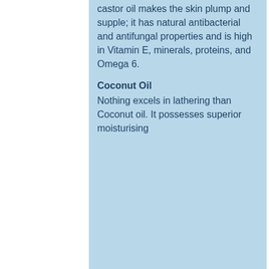castor oil makes the skin plump and supple; it has natural antibacterial and antifungal properties and is high in Vitamin E, minerals, proteins, and Omega 6.
Coconut Oil
Nothing excels in lathering than Coconut oil. It possesses superior moisturising
We respect your privacy and we only use non-essential cookies and similar technologies, which enable services and functionality on our site and to understand your interaction with our service, with your concent. By clicking on accept, you agree to our use of these cookies. See Privacy Policy
Decline Non Essential
Accept
Cookie Settings